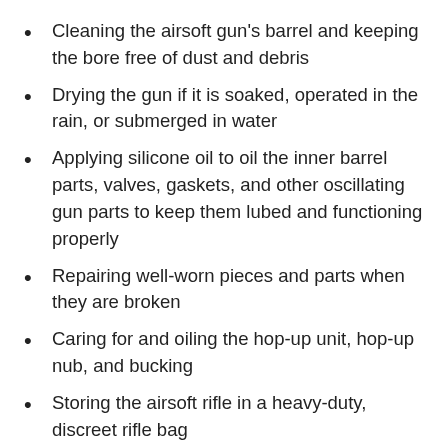Cleaning the airsoft gun's barrel and keeping the bore free of dust and debris
Drying the gun if it is soaked, operated in the rain, or submerged in water
Applying silicone oil to oil the inner barrel parts, valves, gaskets, and other oscillating gun parts to keep them lubed and functioning properly
Repairing well-worn pieces and parts when they are broken
Caring for and oiling the hop-up unit, hop-up nub, and bucking
Storing the airsoft rifle in a heavy-duty, discreet rifle bag
Make sure your modifications and FPS increases are within the airsoft playing field's guidelines if you customize the